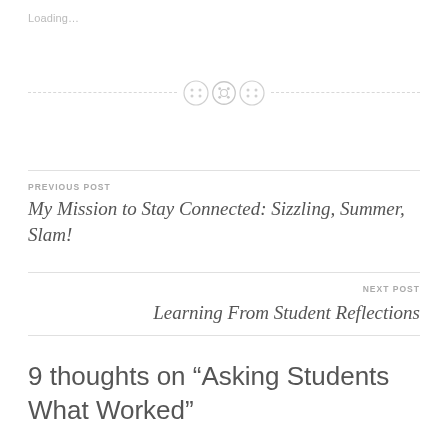Loading…
[Figure (illustration): Three decorative button icons arranged horizontally with dashed divider lines on each side]
PREVIOUS POST
My Mission to Stay Connected: Sizzling, Summer, Slam!
NEXT POST
Learning From Student Reflections
9 thoughts on “Asking Students What Worked”